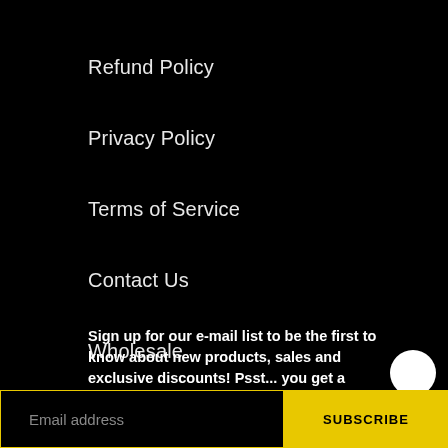Refund Policy
Privacy Policy
Terms of Service
Contact Us
Wholesale
Sign up for our e-mail list to be the first to know about new products, sales and exclusive discounts! Psst... you get a discount for signing
Email address
SUBSCRIBE